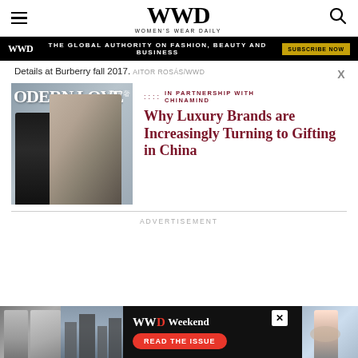WWD — Women's Wear Daily
THE GLOBAL AUTHORITY ON FASHION, BEAUTY AND BUSINESS  SUBSCRIBE NOW
Details at Burberry fall 2017.  AITOR ROSÁS/WWD
[Figure (photo): Magazine cover with models titled MODERN LOVE with Chinese text]
:::: IN PARTNERSHIP WITH CHINAMIND
Why Luxury Brands are Increasingly Turning to Gifting in China
ADVERTISEMENT
[Figure (photo): WWD Weekend ad banner with READ THE ISSUE button and fashion photo]